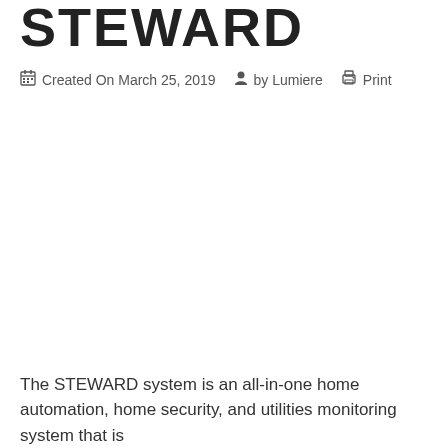STEWARD
Created On March 25, 2019   by Lumiere   Print
The STEWARD system is an all-in-one home automation, home security, and utilities monitoring system that is